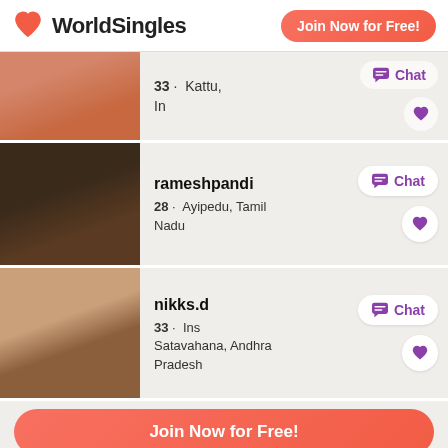[Figure (logo): WorldSingles logo with heart icon]
Join Now for Free! (top button)
33 · Kattu, In
rameshpandi
28 · Ayipedu, Tamil Nadu
nikks.d
33 · Ins Satavahana, Andhra Pradesh
Join Now for Free! (center button)
34 · Alusa, Kerala